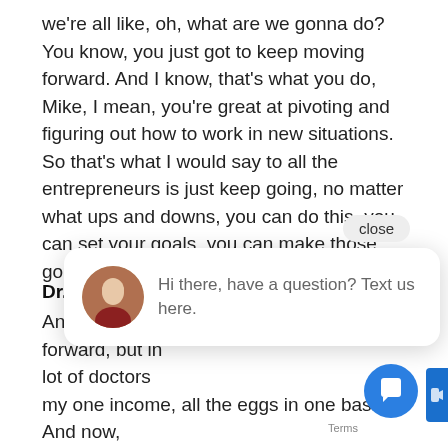we're all like, oh, what are we gonna do? You know, you just got to keep moving forward. And I know, that's what you do, Mike, I mean, you're great at pivoting and figuring out how to work in new situations. So that's what I would say to all the entrepreneurs is just keep going, no matter what ups and downs, you can do this, you can set your goals, you can make those goals, so just go do it.
Dr. Mike Woo-Ming
And I like wha... forward, but in... lot of doctors ... my one income, all the eggs in one basket. And now, you know, for for a few of them. Unfortunately, ou... colleagues, they either lost their job or anyone furloughed, and it just realizes, hey, just like what
[Figure (screenshot): Chat widget overlay showing a close button and a chat bubble with an avatar photo of a woman and text 'Hi there, have a question? Text us here.' alongside a blue circular chat button at the bottom right.]